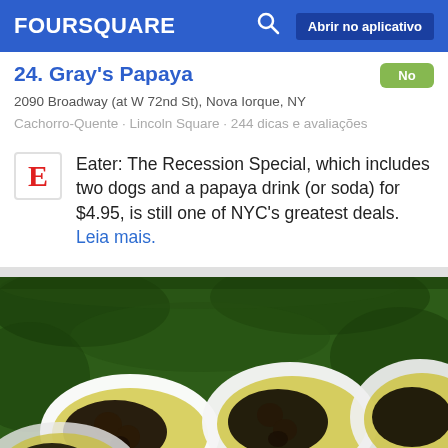FOURSQUARE   Abrir no aplicativo
24. Gray's Papaya
2090 Broadway (at W 72nd St), Nova Iorque, NY
Cachorro-Quente · Lincoln Square · 244 dicas e avaliações
Eater: The Recession Special, which includes two dogs and a papaya drink (or soda) for $4.95, is still one of NYC's greatest deals. Leia mais.
[Figure (photo): Close-up photo of halved papaya fruits showing black seeds and yellow-green flesh against green foliage background]